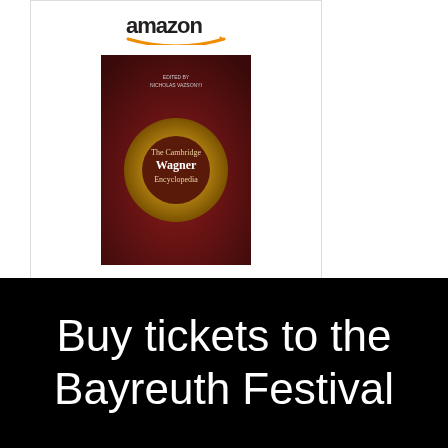[Figure (other): Amazon advertisement for The Cambridge Wagner Encyclopedia book, showing Amazon logo, book cover image, price $117.90 with Prime badge, and Shop now button]
[Figure (other): Black banner advertisement with white text reading 'Buy tickets to the Bayreuth Festival']